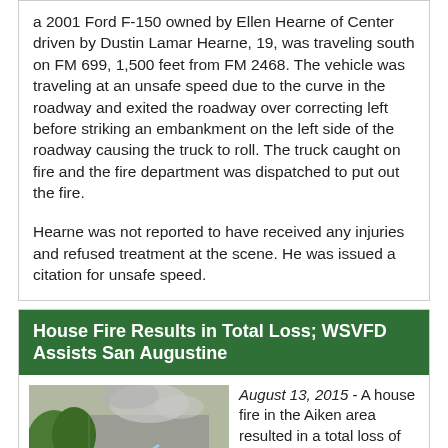a 2001 Ford F-150 owned by Ellen Hearne of Center driven by Dustin Lamar Hearne, 19, was traveling south on FM 699, 1,500 feet from FM 2468. The vehicle was traveling at an unsafe speed due to the curve in the roadway and exited the roadway over correcting left before striking an embankment on the left side of the roadway causing the truck to roll. The truck caught on fire and the fire department was dispatched to put out the fire.
Hearne was not reported to have received any injuries and refused treatment at the scene. He was issued a citation for unsafe speed.
House Fire Results in Total Loss; WSVFD Assists San Augustine
[Figure (photo): People working near a house fire scene with smoke visible in the background]
August 13, 2015 - A house fire in the Aiken area resulted in a total loss of the residence on